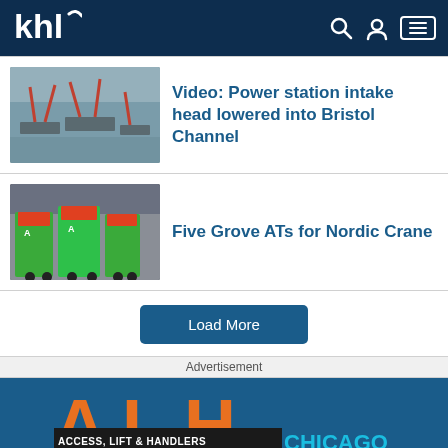khl
[Figure (photo): Aerial view of cranes and barges on water, Bristol Channel scene]
Video: Power station intake head lowered into Bristol Channel
[Figure (photo): Green Grove AT mobile cranes parked in a yard]
Five Grove ATs for Nordic Crane
Load More
Advertisement
[Figure (logo): ALH Access, Lift & Handlers Conference Chicago 2022 logo on blue background]